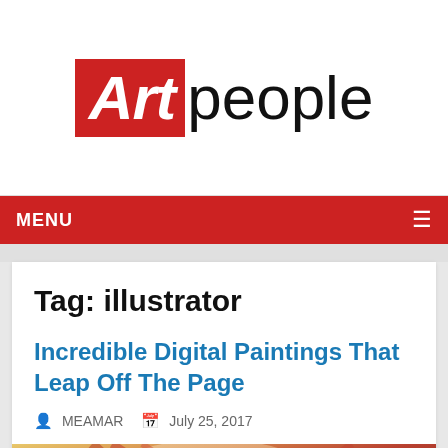[Figure (logo): Artpeople logo: red square with white italic 'Art' text next to black 'people' text]
MENU ≡
Tag: illustrator
Incredible Digital Paintings That Leap Off The Page
MEAMAR   July 25, 2017
[Figure (photo): Partial thumbnail image of digital painting, showing a face with red/orange hair tones]